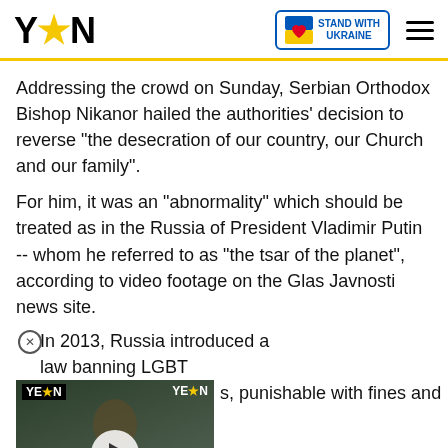YEN — Stand with Ukraine
Addressing the crowd on Sunday, Serbian Orthodox Bishop Nikanor hailed the authorities' decision to reverse "the desecration of our country, our Church and our family".
For him, it was an "abnormality" which should be treated as in the Russia of President Vladimir Putin -- whom he referred to as "the tsar of the planet", according to video footage on the Glas Javnosti news site.
In 2013, Russia introduced a law banning LGBT ..., punishable with fines and
[Figure (screenshot): YEN video thumbnail showing a man with glasses; ticker reads 'G.E.S. RELEASES SHS PLACEMENTS / FIRE GUTS ABOSSEY OKAI']
[Figure (screenshot): Advertisement banner showing 'Hold and Move' with people icons and close/help buttons]